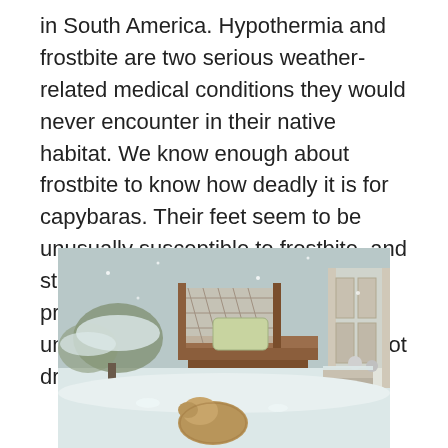in South America. Hypothermia and frostbite are two serious weather-related medical conditions they would never encounter in their native habitat. We know enough about frostbite to know how deadly it is for capybaras. Their feet seem to be unusually susceptible to frostbite, and standard treatment is ineffective. It probably doesn't help that they are uncooperative about leaving their foot dressings alone.
[Figure (photo): A snowy backyard scene with a capybara visible in the foreground on snow-covered ground. In the background there is a wooden deck with lattice fencing, a bathtub, and steps. To the right are stairs with a white railing and some containers. Trees and bushes are covered in snow.]